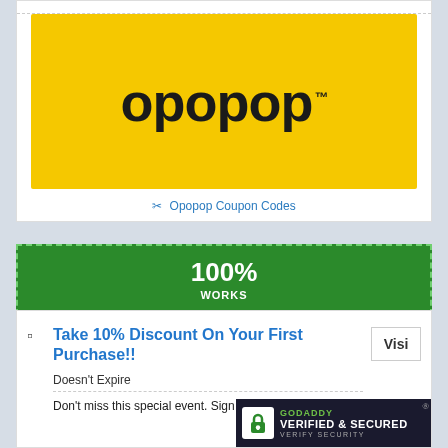[Figure (logo): Opopop brand logo on yellow background with bold rounded black text reading 'opopop' and a TM symbol]
✂ Opopop Coupon Codes
100% WORKS
Take 10% Discount On Your First Purchase!!
Doesn't Expire
Don't miss this special event. Sign up to get notified.